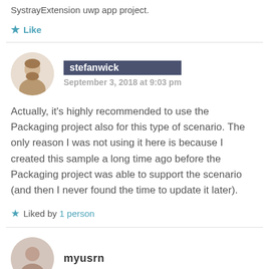SystrayExtension uwp app project.
Like
stefanwick
September 3, 2018 at 9:03 pm
Actually, it's highly recommended to use the Packaging project also for this type of scenario. The only reason I was not using it here is because I created this sample a long time ago before the Packaging project was able to support the scenario (and then I never found the time to update it later).
Liked by 1 person
myusrn